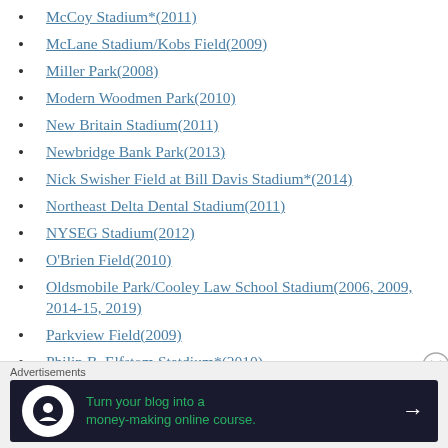McCoy Stadium*(2011)
McLane Stadium/Kobs Field(2009)
Miller Park(2008)
Modern Woodmen Park(2010)
New Britain Stadium(2011)
Newbridge Bank Park(2013)
Nick Swisher Field at Bill Davis Stadium*(2014)
Northeast Delta Dental Stadium(2011)
NYSEG Stadium(2012)
O'Brien Field(2010)
Oldsmobile Park/Cooley Law School Stadium(2006, 2009, 2014-15, 2019)
Parkview Field(2009)
Philip B. Elfstom Statdium*(2010)
Advertisements — Turn your blog into a money-making online course.